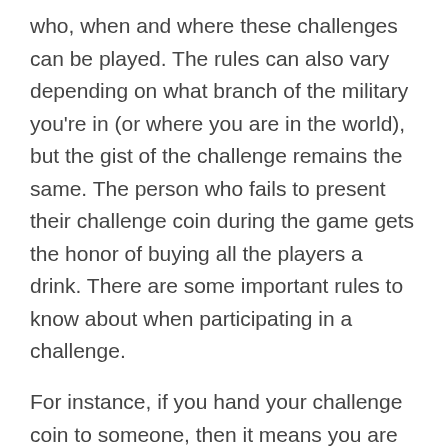who, when and where these challenges can be played. The rules can also vary depending on what branch of the military you're in (or where you are in the world), but the gist of the challenge remains the same. The person who fails to present their challenge coin during the game gets the honor of buying all the players a drink. There are some important rules to know about when participating in a challenge.
For instance, if you hand your challenge coin to someone, then it means you are giving it to them. Don't make the mistake of losing your coin in this manner and know the rules before you play. It's best to show that you have your coin by placing it in the palm of your hand, holding it in your fingers or